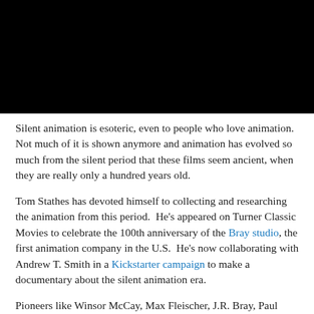[Figure (photo): Black and white photograph, partially cropped at top, showing animation-related imagery with dark background]
Silent animation is esoteric, even to people who love animation.  Not much of it is shown anymore and animation has evolved so much from the silent period that these films seem ancient, when they are really only a hundred years old.
Tom Stathes has devoted himself to collecting and researching the animation from this period.  He's appeared on Turner Classic Movies to celebrate the 100th anniversary of the Bray studio, the first animation company in the U.S.  He's now collaborating with Andrew T. Smith in a Kickstarter campaign to make a documentary about the silent animation era.
Pioneers like Winsor McCay, Max Fleischer, J.R. Bray, Paul Terry, Earl Hurd, Raoul Barre, Bill Nolan and Otto Messmer laid the groundwork for everything that came after.  Without them, there would have been no Walt Disney, and without Disney the animation we watch today would not exist.